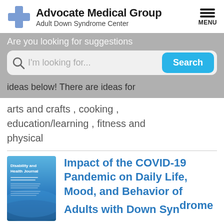[Figure (logo): Advocate Medical Group logo with blue cross and text 'Advocate Medical Group / Adult Down Syndrome Center']
Are you looking for suggestions
[Figure (screenshot): Search bar with magnifying glass icon, placeholder 'I'm looking for...', and a teal 'Search' button]
ideas below! There are ideas for arts and crafts , cooking , education/learning , fitness and physical
[Figure (photo): Cover of Disability and Health Journal, blue gradient cover with title text]
Impact of the COVID-19 Pandemic on Daily Life, Mood, and Behavior of Adults with Down Syndrome